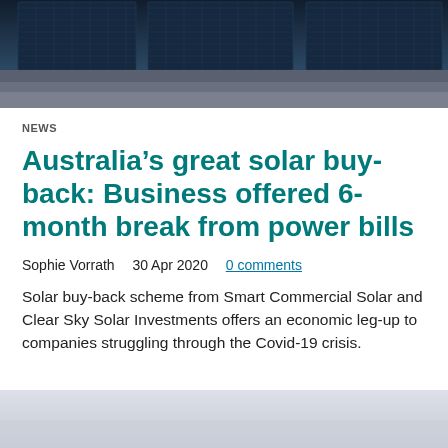[Figure (photo): Aerial view of dark blue solar panels arranged in rows]
NEWS
Australia’s great solar buy-back: Business offered 6-month break from power bills
Sophie Vorrath   30 Apr 2020   0 comments
Solar buy-back scheme from Smart Commercial Solar and Clear Sky Solar Investments offers an economic leg-up to companies struggling through the Covid-19 crisis.
[Figure (photo): Light grey sky background image at bottom of page]